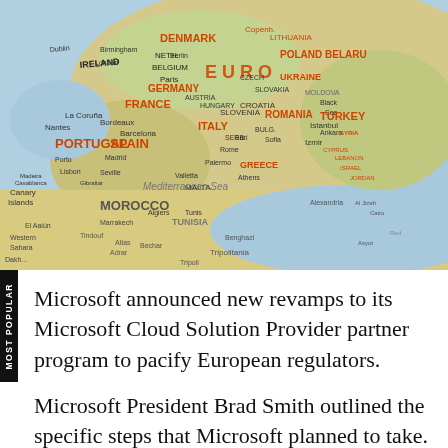[Figure (map): Close-up photograph of a globe/map showing Europe, North Africa, and parts of the Middle East. Visible countries include Ireland, Portugal, Spain, France, Germany, Italy, Greece, Turkey, Morocco, and others. Map labels visible include city and country names.]
Microsoft announced new revamps to its Microsoft Cloud Solution Provider partner program to pacify European regulators.
Microsoft President Brad Smith outlined the specific steps that Microsoft planned to take. Microsoft is planning to permit European service providers to: